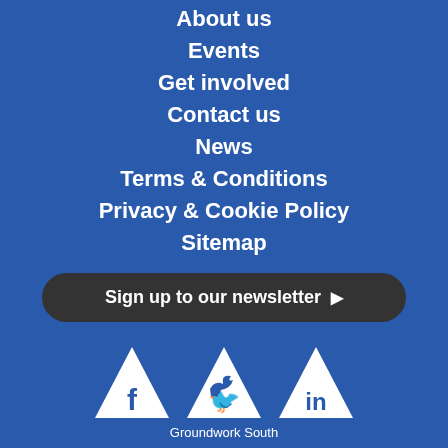About us
Events
Get involved
Contact us
News
Terms & Conditions
Privacy & Cookie Policy
Sitemap
Sign up to our newsletter ▶
[Figure (illustration): Three white triangular social media icons for Facebook, Twitter, and LinkedIn on a blue background]
Groundwork South